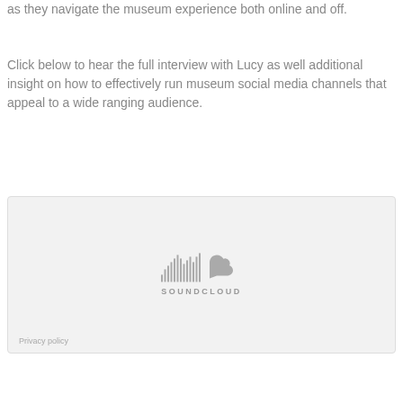as they navigate the museum experience both online and off.
Click below to hear the full interview with Lucy as well additional insight on how to effectively run museum social media channels that appeal to a wide ranging audience.
[Figure (screenshot): SoundCloud embedded player widget with SoundCloud logo and wordmark on a light grey background, with a 'Privacy policy' link in the bottom-left corner.]